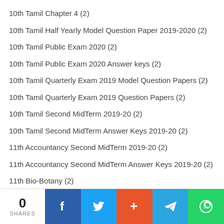10th Tamil Chapter 4 (2)
10th Tamil Half Yearly Model Question Paper 2019-2020 (2)
10th Tamil Public Exam 2020 (2)
10th Tamil Public Exam 2020 Answer keys (2)
10th Tamil Quarterly Exam 2019 Model Question Papers (2)
10th Tamil Quarterly Exam 2019 Question Papers (2)
10th Tamil Second MidTerm 2019-20 (2)
10th Tamil Second MidTerm Answer Keys 2019-20 (2)
11th Accountancy Second MidTerm 2019-20 (2)
11th Accountancy Second MidTerm Answer Keys 2019-20 (2)
11th Bio-Botany (2)
0 SHARES | Facebook | Twitter | + | Telegram | WhatsApp